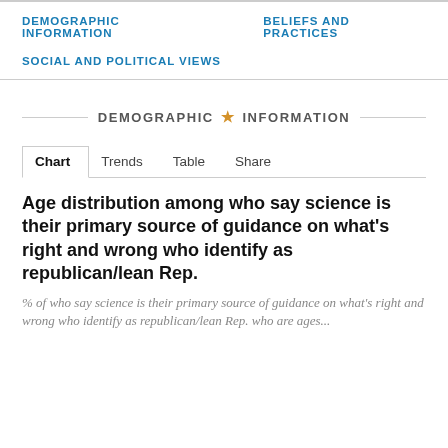DEMOGRAPHIC INFORMATION    BELIEFS AND PRACTICES
SOCIAL AND POLITICAL VIEWS
DEMOGRAPHIC ★ INFORMATION
Chart   Trends   Table   Share
Age distribution among who say science is their primary source of guidance on what's right and wrong who identify as republican/lean Rep.
% of who say science is their primary source of guidance on what's right and wrong who identify as republican/lean Rep. who are ages...